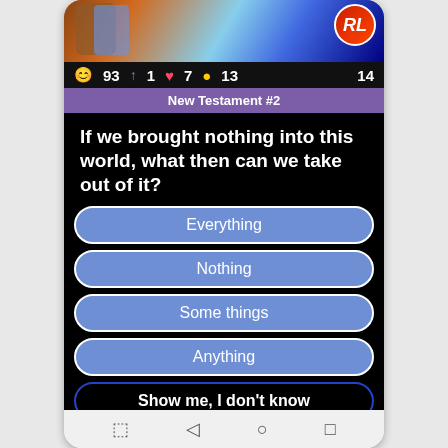[Figure (screenshot): Top portion of a mobile trivia game app showing illustrated characters (animated cartoon style) with a red circular RU logo badge in the top right corner.]
😊93  ↑1  ♥7  ●13    14
New Testament #2
If we brought nothing into this world, what then can we take out of it?
Everything
Nothing
Some things
Anything
Show me, I don't know
[Figure (screenshot): Bottom navigation icons row showing four circular icon buttons: a Bible/book icon, a butterfly/insect icon, a badminton shuttlecock icon, and a lightning bolt icon, all in dotted-border circles on a dark background.]
Android navigation bar with back, home, and recent apps buttons